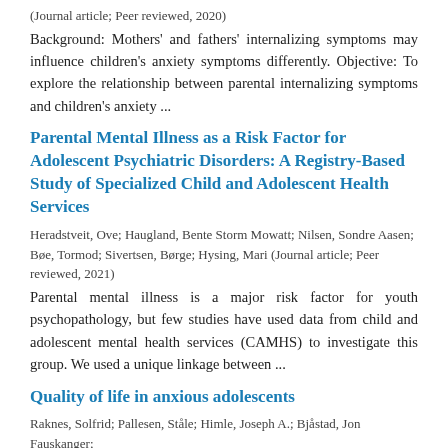(Journal article; Peer reviewed, 2020)
Background: Mothers' and fathers' internalizing symptoms may influence children's anxiety symptoms differently. Objective: To explore the relationship between parental internalizing symptoms and children's anxiety ...
Parental Mental Illness as a Risk Factor for Adolescent Psychiatric Disorders: A Registry-Based Study of Specialized Child and Adolescent Health Services
Heradstveit, Ove; Haugland, Bente Storm Mowatt; Nilsen, Sondre Aasen; Bøe, Tormod; Sivertsen, Børge; Hysing, Mari (Journal article; Peer reviewed, 2021)
Parental mental illness is a major risk factor for youth psychopathology, but few studies have used data from child and adolescent mental health services (CAMHS) to investigate this group. We used a unique linkage between ...
Quality of life in anxious adolescents
Raknes, Solfrid; Pallesen, Ståle; Himle, Joseph A.; Bjåstad, Jon Fauskanger; Wergeland, Gro Janne; Hoffart, Asle; Dyregrov, Kari; Håland, Åshild